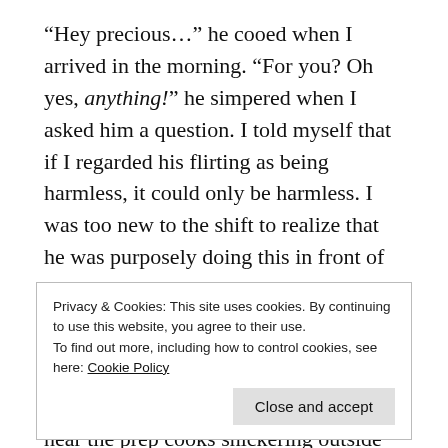“Hey precious…” he cooed when I arrived in the morning. “For you? Oh yes, anything!” he simpered when I asked him a question. I told myself that if I regarded his flirting as being harmless, it could only be harmless. I was too new to the shift to realize that he was purposely doing this in front of the waitress he was sleeping with.
One day, Carlos followed me into the walk-in cooler and set his gaze firmly on my lips as he approached me. I could hear the prep cooks snickering outside as they
Privacy & Cookies: This site uses cookies. By continuing to use this website, you agree to their use.
To find out more, including how to control cookies, see here: Cookie Policy
Close and accept